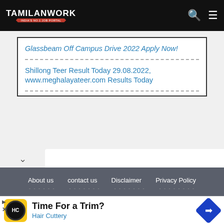TAMILANWORK
Glassbeam Off Campus Drive 2022 Apply Now!
Shillong Teer Result Today 29.08.2022, www.meghalayateer.com Results Today
About us   contact us   Disclaimer   Privacy Policy
Design and Maintained by Vignesh INFO Solution
[Figure (screenshot): Advertisement banner: HC Hair Cuttery logo, 'Time For a Trim?' heading, 'Hair Cuttery' link, navigation arrow icon]